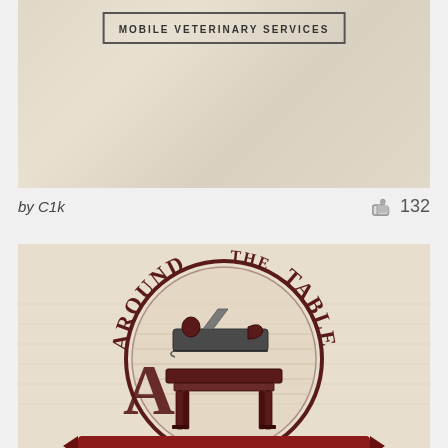[Figure (logo): Mobile Veterinary Services logo on parchment/aged paper background with a rectangular border containing text 'MOBILE VETERINARY SERVICES' in spaced capital letters]
by C1k
132
[Figure (logo): Around the Table logo on cream/parchment background: circular emblem with text 'AROUND THE TABLE' arched around a circle containing a wood hand plane tool above a wooden table/bench, in dark maroon/brown colors with decorative woodworking theme]